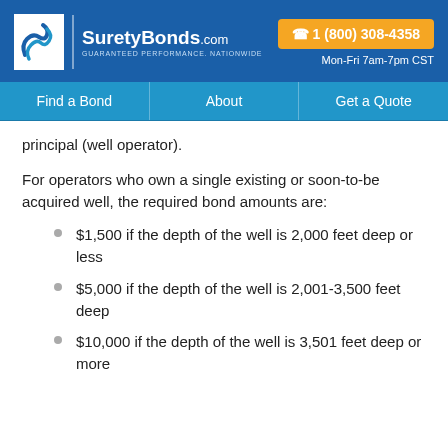SuretyBonds.com — GUARANTEED PERFORMANCE. NATIONWIDE — 1 (800) 308-4358 — Mon-Fri 7am-7pm CST
Find a Bond | About | Get a Quote
principal (well operator).
For operators who own a single existing or soon-to-be acquired well, the required bond amounts are:
$1,500 if the depth of the well is 2,000 feet deep or less
$5,000 if the depth of the well is 2,001-3,500 feet deep
$10,000 if the depth of the well is 3,501 feet deep or more